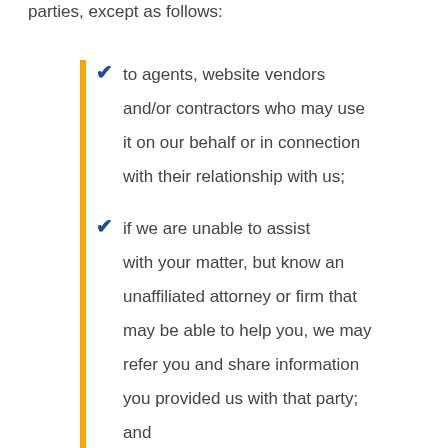parties, except as follows:
to agents, website vendors and/or contractors who may use it on our behalf or in connection with their relationship with us;
if we are unable to assist with your matter, but know an unaffiliated attorney or firm that may be able to help you, we may refer you and share information you provided us with that party; and